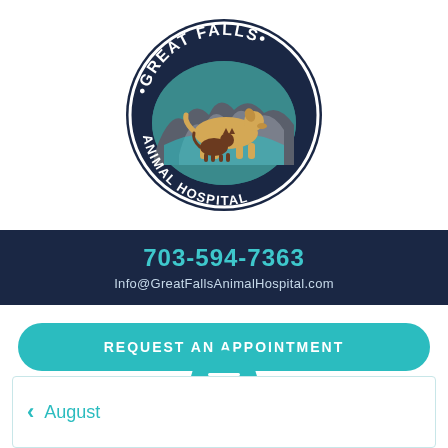[Figure (logo): Great Falls Animal Hospital oval logo with a golden dog and brown cat on a teal and dark background, surrounded by the text GREAT FALLS ANIMAL HOSPITAL]
703-594-7363
Info@GreatFallsAnimalHospital.com
REQUEST AN APPOINTMENT
NEW PATIENT/CLIENT REGISTRATION FORM
August